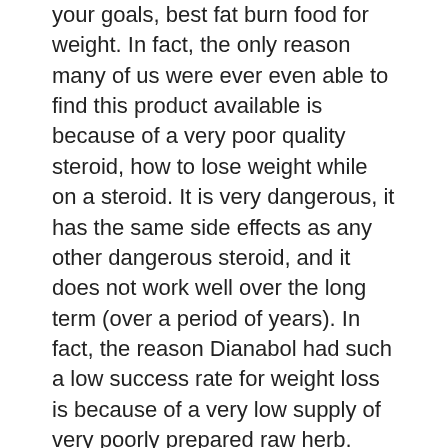your goals, best fat burn food for weight. In fact, the only reason many of us were ever even able to find this product available is because of a very poor quality steroid, how to lose weight while on a steroid. It is very dangerous, it has the same side effects as any other dangerous steroid, and it does not work well over the long term (over a period of years). In fact, the reason Dianabol had such a low success rate for weight loss is because of a very low supply of very poorly prepared raw herb. This poor quality raw herb is in large part to blame for many of Dianabol's failures, best sarm for fast weight loss. As you will see from a recent article in the popular sports nutrition magazine BODSMALL, Dianabol has had a very limited shelf life (since the steroids made it to the market in the 1960s and 70s, when manufacturers could barely afford to keep their inventory) and most of the products have been damaged by shelf life events,